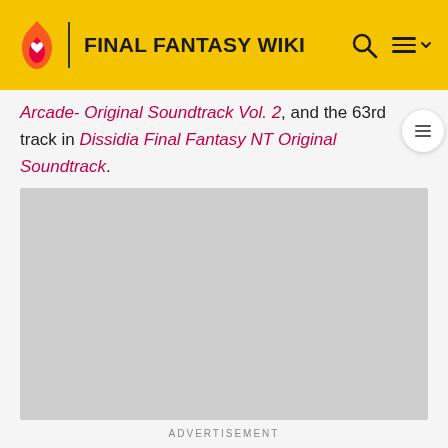FINAL FANTASY WIKI
Arcade- Original Soundtrack Vol. 2, and the 63rd track in Dissidia Final Fantasy NT Original Soundtrack.
[Figure (other): Advertisement placeholder — grey rectangle]
ADVERTISEMENT